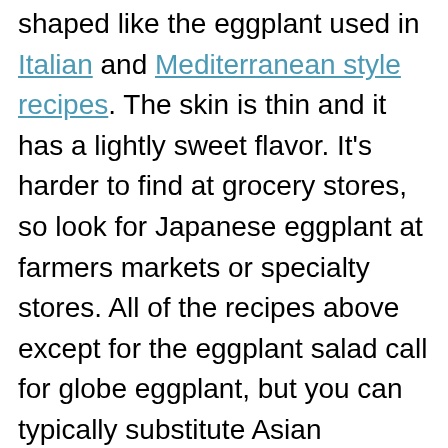shaped like the eggplant used in Italian and Mediterranean style recipes. The skin is thin and it has a lightly sweet flavor. It's harder to find at grocery stores, so look for Japanese eggplant at farmers markets or specialty stores. All of the recipes above except for the eggplant salad call for globe eggplant, but you can typically substitute Asian eggplant. Be aware that it is much smaller than a globe eggplant, so you'd have to use 2 or 3 to equal the same weight as 1 globe.